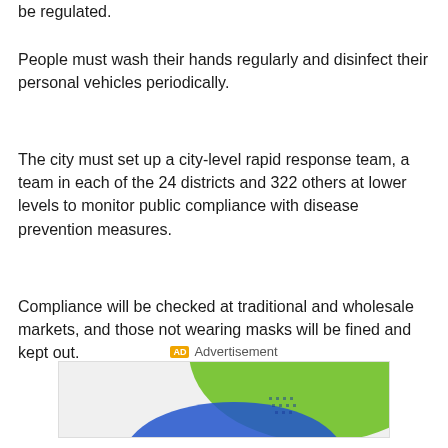be regulated.
People must wash their hands regularly and disinfect their personal vehicles periodically.
The city must set up a city-level rapid response team, a team in each of the 24 districts and 322 others at lower levels to monitor public compliance with disease prevention measures.
Compliance will be checked at traditional and wholesale markets, and those not wearing masks will be fined and kept out.
[Figure (other): Advertisement banner with green and blue background, partially visible at the bottom of the page.]